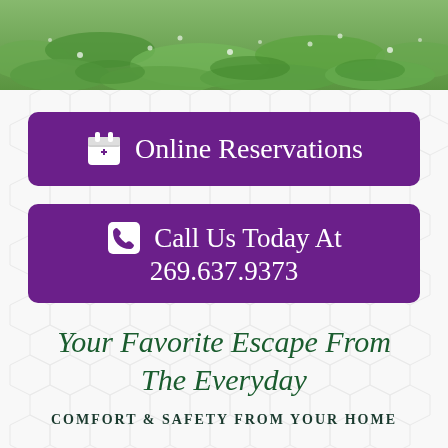[Figure (photo): Green grass lawn photo strip at top of page]
Online Reservations
Call Us Today At 269.637.9373
Your Favorite Escape From The Everyday
COMFORT & SAFETY FROM YOUR HOME